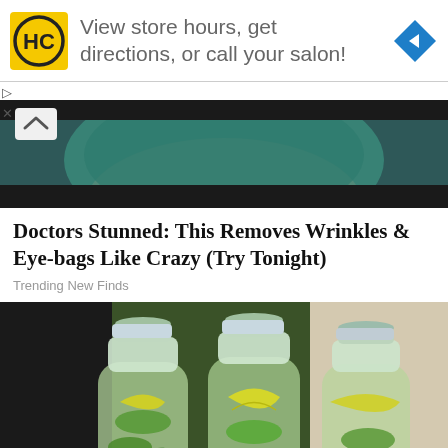[Figure (screenshot): Advertisement banner showing HC salon logo, text 'View store hours, get directions, or call your salon!' and a blue navigation diamond icon]
[Figure (photo): Close-up of a person's lower face wearing a teal/blue clay face mask]
Doctors Stunned: This Removes Wrinkles & Eye-bags Like Crazy (Try Tonight)
Trending New Finds
[Figure (photo): Three clear plastic water bottles filled with green cucumber, lemon slices, and mint leaves infused water]